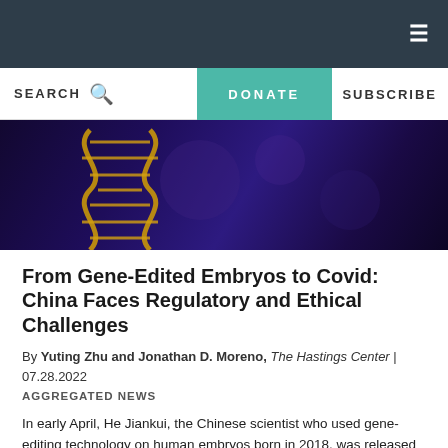≡
[Figure (screenshot): Navigation bar with SEARCH, DONATE, and SUBSCRIBE buttons]
[Figure (photo): Hero image showing a golden DNA double helix against a dark purple/blue background]
From Gene-Edited Embryos to Covid: China Faces Regulatory and Ethical Challenges
By Yuting Zhu and Jonathan D. Moreno, The Hastings Center | 07.28.2022
AGGREGATED NEWS
In early April, He Jiankui, the Chinese scientist who used gene-editing technology on human embryos born in 2018, was released from his three-year prison sentence, imposed